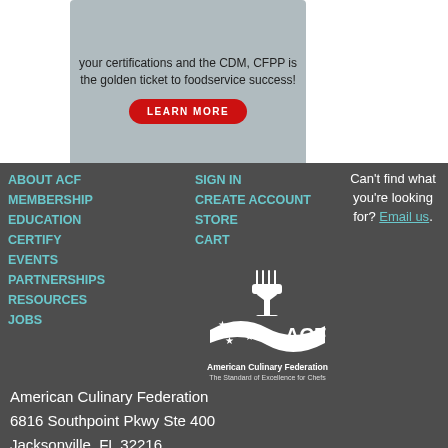[Figure (screenshot): Advertisement banner with text about CDM, CFPP certification and a red LEARN MORE button on gray background]
ABOUT ACF
MEMBERSHIP
EDUCATION
CERTIFY
EVENTS
PARTNERSHIPS
RESOURCES
JOBS
SIGN IN
CREATE ACCOUNT
STORE
CART
[Figure (logo): American Culinary Federation logo with chef figure, stars, and text 'American Culinary Federation - The Standard of Excellence for Chefs']
Can't find what you're looking for? Email us.
American Culinary Federation
6816 Southpoint Pkwy Ste 400
Jacksonville, FL 32216
(904) 824-4468